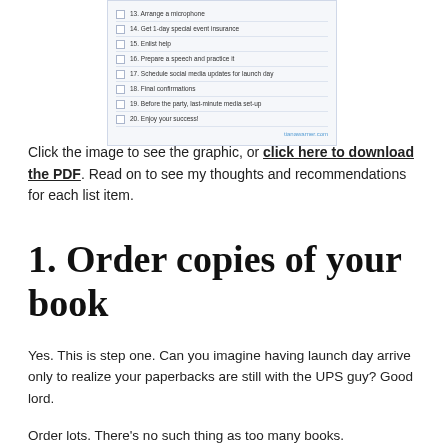[Figure (illustration): A checklist graphic showing items 13-20 of a book launch party checklist, with checkboxes beside each item. Items include: 13. Arrange a microphone, 14. Get 1-day special event insurance, 15. Enlist help, 16. Prepare a speech and practice it, 17. Schedule social media updates for launch day, 18. Final confirmations, 19. Before the party, last-minute media set-up, 20. Enjoy your success! A watermark reads tianawarner.com]
Click the image to see the graphic, or click here to download the PDF. Read on to see my thoughts and recommendations for each list item.
1. Order copies of your book
Yes. This is step one. Can you imagine having launch day arrive only to realize your paperbacks are still with the UPS guy? Good lord.
Order lots. There's no such thing as too many books.